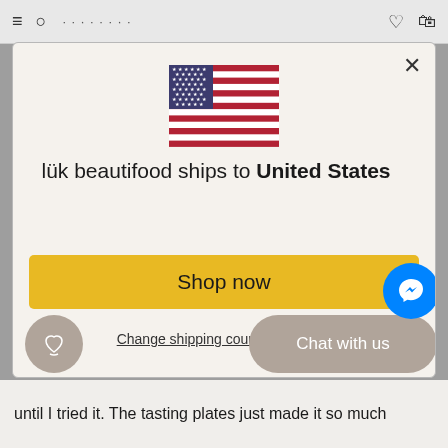[Figure (screenshot): Screenshot of a web browser top bar with hamburger menu, search icon, heart icon, and bag icon]
[Figure (illustration): US flag emoji/illustration centered in modal]
lük beautifood ships to United States
Shop in USD $
Get shipping options for United States
Shop now
Change shipping coun…
Chat with us
until I tried it. The tasting plates just made it so much